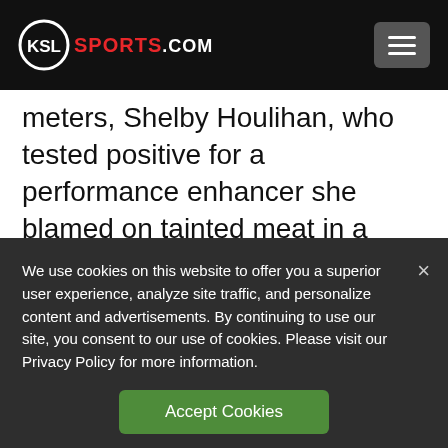KSL SPORTS.COM
meters, Shelby Houlihan, who tested positive for a performance enhancer she blamed on tainted meat in a burrito. Also on Friday, defending Olympic 100-meter hurdles champion Brianna McNeal had a five-year
We use cookies on this website to offer you a superior user experience, analyze site traffic, and personalize content and advertisements. By continuing to use our site, you consent to our use of cookies. Please visit our Privacy Policy for more information.
Accept Cookies